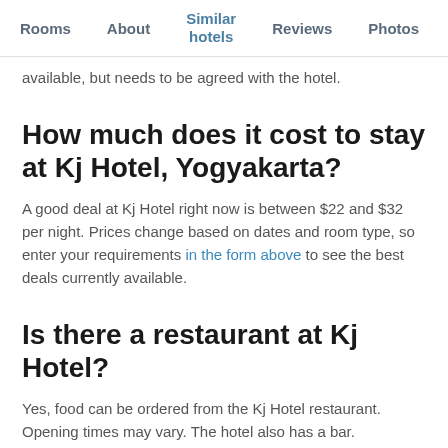Rooms | About | Similar hotels | Reviews | Photos | Loca...
available, but needs to be agreed with the hotel.
How much does it cost to stay at Kj Hotel, Yogyakarta?
A good deal at Kj Hotel right now is between $22 and $32 per night. Prices change based on dates and room type, so enter your requirements in the form above to see the best deals currently available.
Is there a restaurant at Kj Hotel?
Yes, food can be ordered from the Kj Hotel restaurant. Opening times may vary. The hotel also has a bar.
Does Kj Hotel have a laundry service?